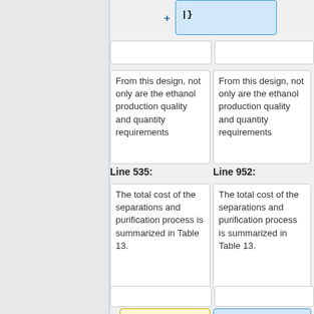+ |} (code cell, highlighted blue, right column top)
From this design, not only are the ethanol production quality and quantity requirements (left column)
From this design, not only are the ethanol production quality and quantity requirements (right column)
Line 535:
Line 952:
The total cost of the separations and purification process is summarized in Table 13. (left column)
The total cost of the separations and purification process is summarized in Table 13. (right column)
Table 13 (left column, yellow highlight)
{| class="wikitable" (right column, blue highlight, with + marker)